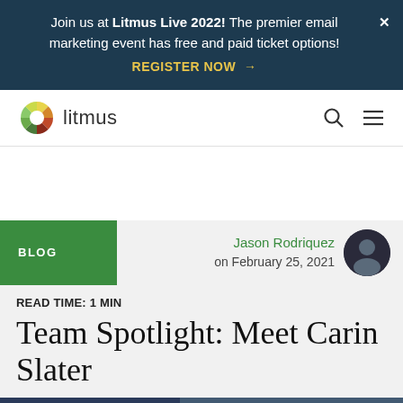Join us at Litmus Live 2022! The premier email marketing event has free and paid ticket options! REGISTER NOW →
[Figure (logo): Litmus logo with colorful wheel icon and 'litmus' text, plus search and hamburger menu icons in navbar]
Jason Rodriguez on February 25, 2021
BLOG
READ TIME: 1 MIN
Team Spotlight: Meet Carin Slater
[Figure (photo): Partial photo at bottom of page, dark blue tones]